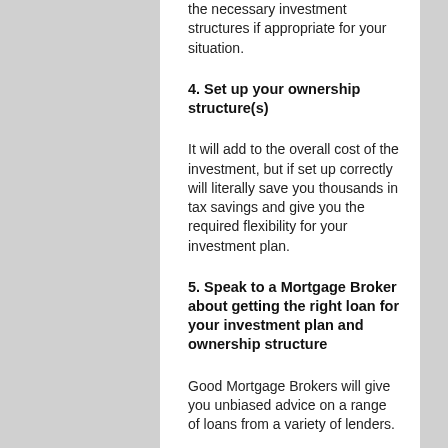the necessary investment structures if appropriate for your situation.
4. Set up your ownership structure(s)
It will add to the overall cost of the investment, but if set up correctly will literally save you thousands in tax savings and give you the required flexibility for your investment plan.
5. Speak to a Mortgage Broker about getting the right loan for your investment plan and ownership structure
Good Mortgage Brokers will give you unbiased advice on a range of loans from a variety of lenders.
Armed with your investment plan and budget in mind, seek advice on current interest rates and property market conditions to determine if principal and interest or interest only loans are